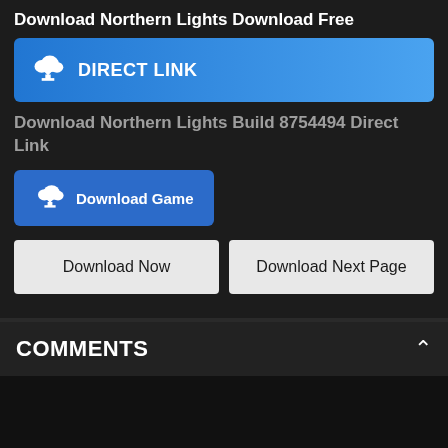Download Northern Lights Download Free
[Figure (other): Blue gradient button with download cloud icon and text DIRECT LINK]
Download Northern Lights Build 8754494 Direct Link
[Figure (other): Blue button with download cloud icon and text Download Game]
[Figure (other): Two grey buttons side by side: Download Now and Download Next Page]
COMMENTS
What do you think?
0 Responses